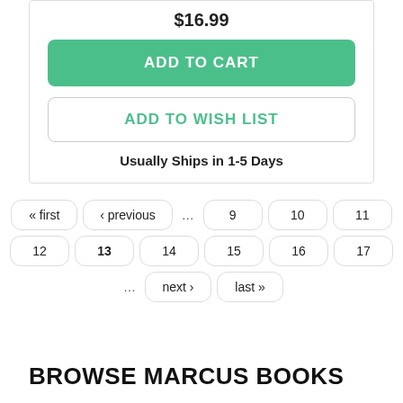$16.99
ADD TO CART
ADD TO WISH LIST
Usually Ships in 1-5 Days
« first ‹ previous … 9 10 11 12 13 14 15 16 17 … next › last »
BROWSE MARCUS BOOKS